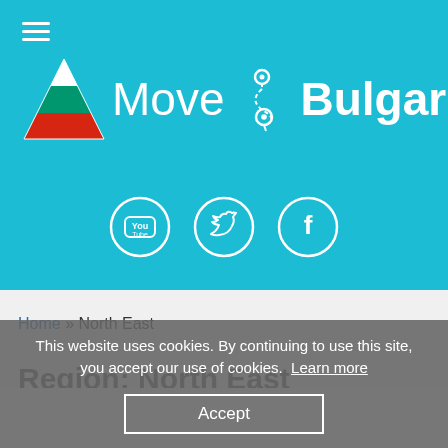[Figure (logo): Move2Bulgaria website header with Bulgarian flag logo, 'Move2Bulgaria' text in white on teal background, hamburger menu icon, and social media icons (YouTube, Twitter, Facebook) in white circles]
Home » North East
Region: North East
This website uses cookies. By continuing to use this site, you accept our use of cookies. Learn more
Accept